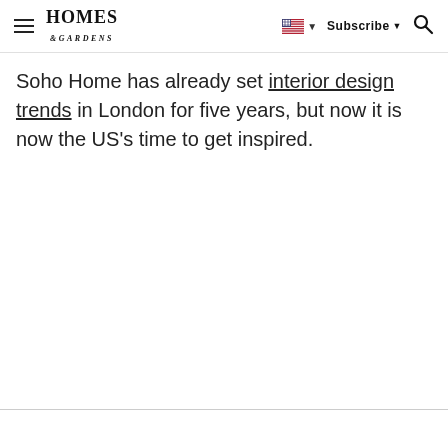Homes & Gardens — Subscribe — Search
Soho Home has already set interior design trends in London for five years, but now it is now the US's time to get inspired.